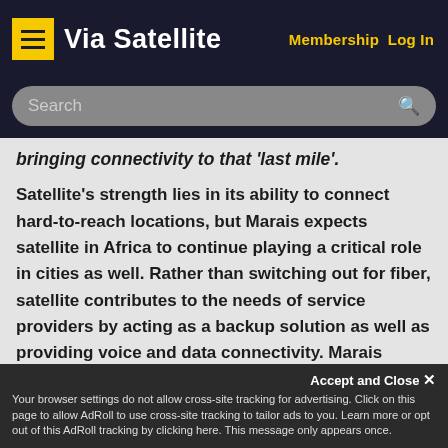Via Satellite  Membership  Log In
bringing connectivity to that 'last mile'.
Satellite's strength lies in its ability to connect hard-to-reach locations, but Marais expects satellite in Africa to continue playing a critical role in cities as well. Rather than switching out for fiber, satellite contributes to the needs of service providers by acting as a backup solution as well as providing voice and data connectivity. Marais pointed to the Vodacom deal, which supplies Ku-
Accept and Close ×
Your browser settings do not allow cross-site tracking for advertising. Click on this page to allow AdRoll to use cross-site tracking to tailor ads to you. Learn more or opt out of this AdRoll tracking by clicking here. This message only appears once.